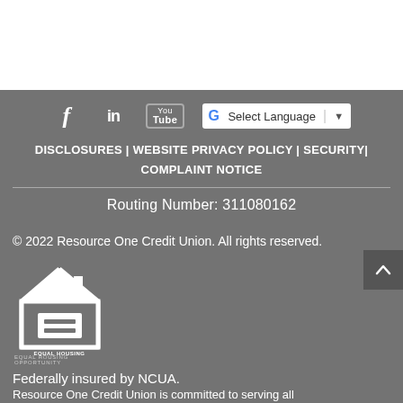[Figure (logo): Social media icons: Facebook (f), LinkedIn (in), YouTube, and a Google Translate 'Select Language' dropdown button]
DISCLOSURES | WEBSITE PRIVACY POLICY | SECURITY| COMPLAINT NOTICE
Routing Number: 311080162
© 2022 Resource One Credit Union. All rights reserved.
[Figure (logo): Equal Housing Opportunity logo: house outline with an equals sign and text 'EQUAL HOUSING OPPORTUNITY']
Federally insured by NCUA.
Resource One Credit Union is committed to serving all...